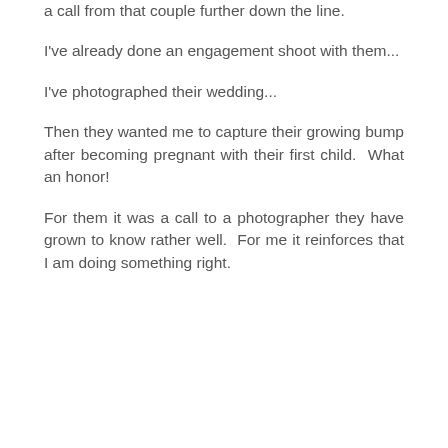a call from that couple further down the line.
I've already done an engagement shoot with them...
I've photographed their wedding...
Then they wanted me to capture their growing bump after becoming pregnant with their first child.  What an honor!
For them it was a call to a photographer they have grown to know rather well.  For me it reinforces that I am doing something right.